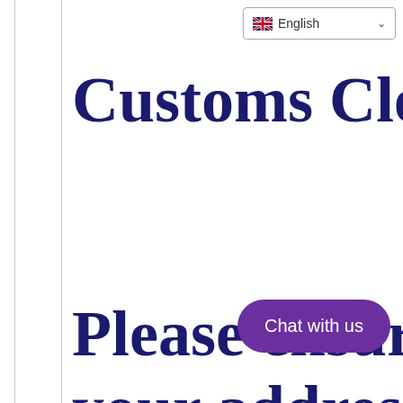English
Customs Clearance
Please ensure that your address of